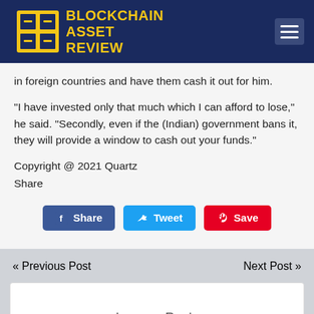BLOCKCHAIN ASSET REVIEW
in foreign countries and have them cash it out for him.
“I have invested only that much which I can afford to lose,” he said. “Secondly, even if the (Indian) government bans it, they will provide a window to cash out your funds.”
Copyright @ 2021 Quartz
Share
[Figure (other): Social share buttons: Facebook Share, Twitter Tweet, Pinterest Save]
« Previous Post    Next Post »
Leave a Reply